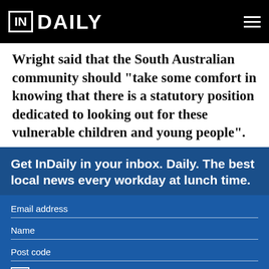InDaily
Wright said that the South Australian community should "take some comfort in knowing that there is a statutory position dedicated to looking out for these vulnerable children and young people".
Get InDaily in your inbox. Daily. The best local news every workday at lunch time.
Email address
Name
Post code
I accept the terms & conditions
This site is protected by reCAPTCHA and the Google Privacy Policy and Terms of Service apply.